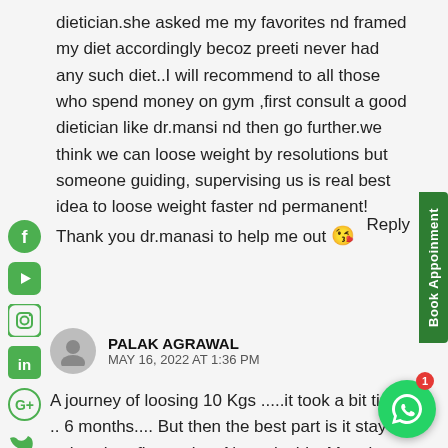dietician.she asked me my favorites nd framed my diet accordingly becoz preeti never had any such diet..I will recommend to all those who spend money on gym ,first consult a good dietician like dr.mansi nd then go further.we think we can loose weight by resolutions but someone guiding, supervising us is real best idea to loose weight faster nd permanent! Thank you dr.manasi to help me out 😘
Reply
PALAK AGRAWAL
MAY 16, 2022 AT 1:36 PM
A journey of loosing 10 Kgs .....it took a bit time .. 6 months.... But then the best part is it stayed rather than fluctuatin... Not only this, Mansi helped me to understand the body requirements.... Good vs bad food.... Importance of portion....